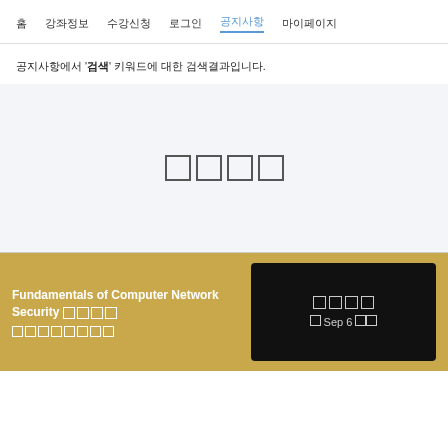홈 강좌정보 수강신청 로그인 공지사항 마이페이지
공지사항에서 '검색' 키워드에 대한 검색결과입니다.
[Figure (other): Empty search results area with placeholder characters]
Fundamentals of Computer Network Security 검색결과
공개 Sep 6 시작